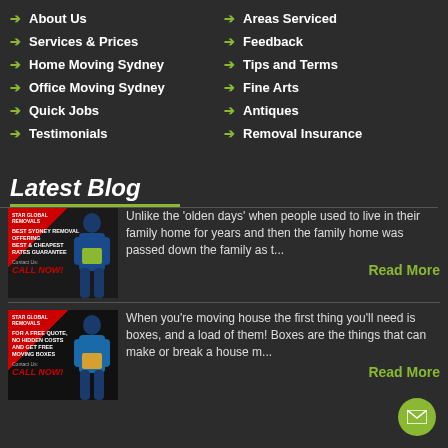→ About Us
→ Services & Prices
→ Home Moving Sydney
→ Office Moving Sydney
→ Quick Jobs
→ Testimonials
→ Areas Serviced
→ Feedback
→ Tips and Terms
→ Fine Arts
→ Antiques
→ Removal Insurance
Latest Blog
[Figure (photo): Moving company advertisement showing mover carrying boxes with red/dark background]
Unlike the 'olden days' when people used to live in their family home for years and then the family home was passed down the family as t...
Read More
[Figure (photo): Moving company advertisement showing mover in blue uniform with boxes]
When you're moving house the first thing you'll need is boxes, and a load of them! Boxes are the things that can make or break a house m...
Read More